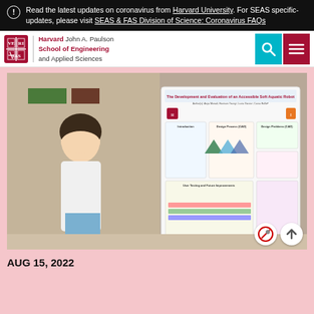Read the latest updates on coronavirus from Harvard University. For SEAS specific-updates, please visit SEAS & FAS Division of Science: Coronavirus FAQs
[Figure (logo): Harvard John A. Paulson School of Engineering and Applied Sciences navigation bar with Harvard shield logo, search icon, and menu icon]
[Figure (photo): A young woman standing in front of a research poster titled 'The Development and Evaluation of an Accessible Soft Aquatic Robot' at a SEAS event]
AUG 15, 2022